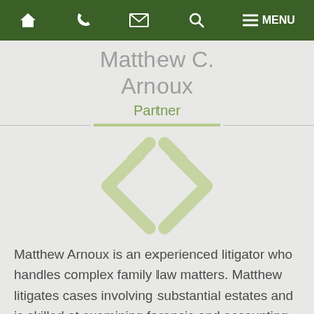🏠 📞 ✉ 🔍 ≡ MENU
Matthew C. Arnoux
Partner
[Figure (illustration): Decorative angle bracket / chevron pair icons (< >) rendered in light olive/sage green outline style, centered on the page]
Matthew Arnoux is an experienced litigator who handles complex family law matters. Matthew litigates cases involving substantial estates and is skilled at examining forensic and accounting experts in cases involving the tracing and characterization of assets and the valuation of businesses. Matthew's cases often involve the determination of spousal support. Matthew's financial